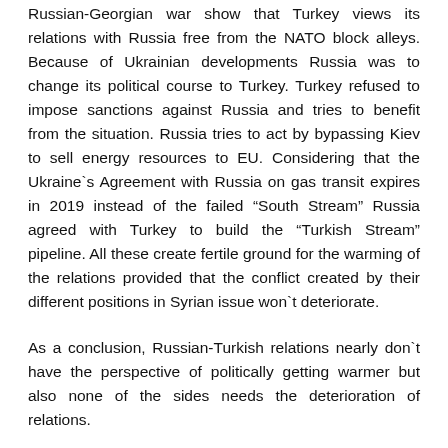Russian-Georgian war show that Turkey views its relations with Russia free from the NATO block alleys. Because of Ukrainian developments Russia was to change its political course to Turkey. Turkey refused to impose sanctions against Russia and tries to benefit from the situation. Russia tries to act by bypassing Kiev to sell energy resources to EU. Considering that the Ukraine`s Agreement with Russia on gas transit expires in 2019 instead of the failed “South Stream” Russia agreed with Turkey to build the “Turkish Stream” pipeline. All these create fertile ground for the warming of the relations provided that the conflict created by their different positions in Syrian issue won`t deteriorate.
As a conclusion, Russian-Turkish relations nearly don`t have the perspective of politically getting warmer but also none of the sides needs the deterioration of relations.
Bibliography